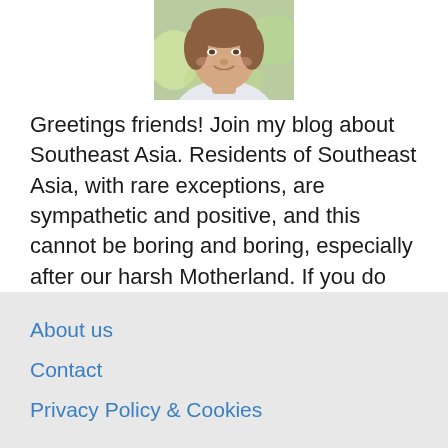[Figure (photo): Portrait photo of a woman smiling, cropped at the shoulders, shown from above the mid-section]
Greetings friends! Join my blog about Southeast Asia. Residents of Southeast Asia, with rare exceptions, are sympathetic and positive, and this cannot be boring and boring, especially after our harsh Motherland. If you do not do business with them, then interacting with them is pleasant and easy. ...
About us
Contact
Privacy Policy & Cookies